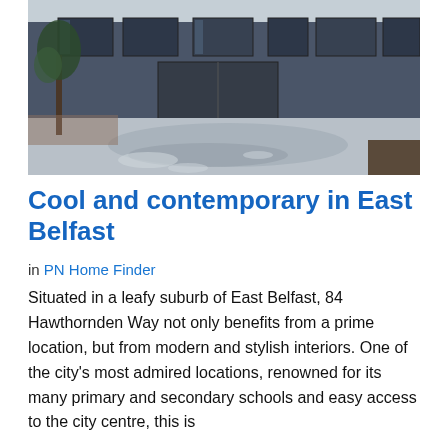[Figure (photo): Exterior photo of a modern dark grey contemporary house with large windows, a wide driveway, and trees in front, taken in daytime.]
Cool and contemporary in East Belfast
in PN Home Finder
Situated in a leafy suburb of East Belfast, 84 Hawthornden Way not only benefits from a prime location, but from modern and stylish interiors. One of the city's most admired locations, renowned for its many primary and secondary schools and easy access to the city centre, this is also a favourite for the aspiring family.